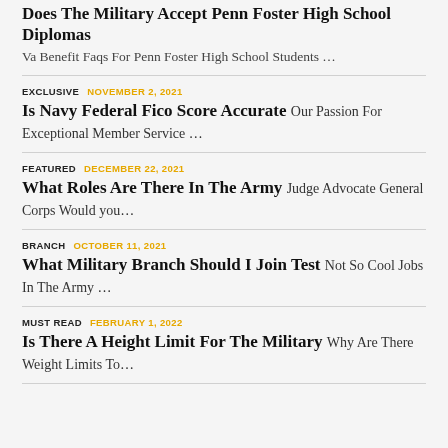Does The Military Accept Penn Foster High School Diplomas
Va Benefit Faqs For Penn Foster High School Students …
EXCLUSIVE   NOVEMBER 2, 2021
Is Navy Federal Fico Score Accurate   Our Passion For Exceptional Member Service …
FEATURED   DECEMBER 22, 2021
What Roles Are There In The Army   Judge Advocate General Corps Would you…
BRANCH   OCTOBER 11, 2021
What Military Branch Should I Join Test   Not So Cool Jobs In The Army …
MUST READ   FEBRUARY 1, 2022
Is There A Height Limit For The Military   Why Are There Weight Limits To…